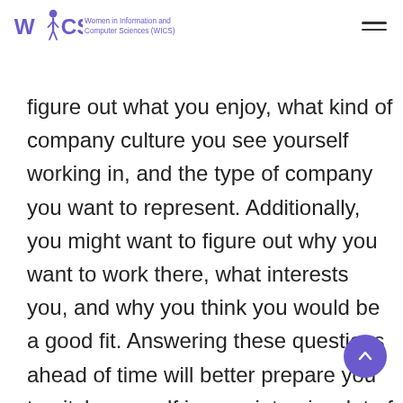Women in Information and Computer Sciences (WICS) — WICS logo header with navigation
figure out what you enjoy, what kind of company culture you see yourself working in, and the type of company you want to represent. Additionally, you might want to figure out why you want to work there, what interests you, and why you think you would be a good fit. Answering these questions ahead of time will better prepare you to pitch yourself in your interview. A lot of these companies have